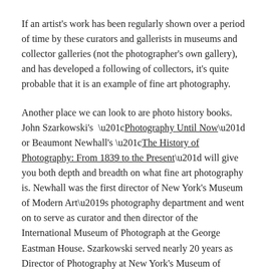If an artist's work has been regularly shown over a period of time by these curators and gallerists in museums and collector galleries (not the photographer's own gallery), and has developed a following of collectors, it's quite probable that it is an example of fine art photography.
Another place we can look to are photo history books. John Szarkowski's “Photography Until Now” or Beaumont Newhall's “The History of Photography: From 1839 to the Present” will give you both depth and breadth on what fine art photography is. Newhall was the first director of New York's Museum of Modern Art’s photography department and went on to serve as curator and then director of the International Museum of Photograph at the George Eastman House. Szarkowski served nearly 20 years as Director of Photography at New York's Museum of Modern Art, as well as authoring